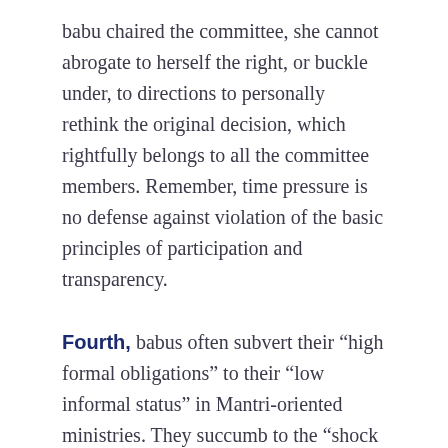babu chaired the committee, she cannot abrogate to herself the right, or buckle under, to directions to personally rethink the original decision, which rightfully belongs to all the committee members. Remember, time pressure is no defense against violation of the basic principles of participation and transparency.
Fourth, babus often subvert their “high formal obligations” to their “low informal status” in Mantri-oriented ministries. They succumb to the “shock and awe effect” of directions from superiors. This is traceable to excessive interference by the Advisers in a Mantri’s office, public disenchantment with babus and systematic media “downgrading and…